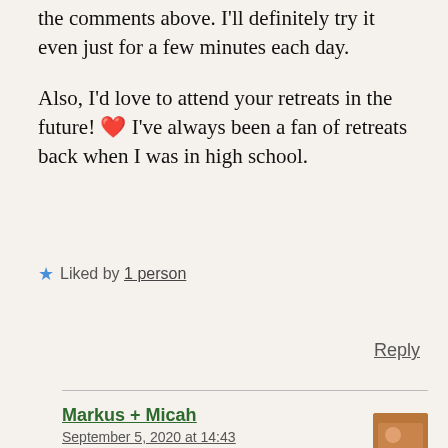the comments above. I'll definitely try it even just for a few minutes each day.
Also, I'd love to attend your retreats in the future! ❤️ I've always been a fan of retreats back when I was in high school.
★ Liked by 1 person
Reply
Markus + Micah
September 5, 2020 at 14:43
Thank you, Nath. I find that most yoga on Instagram is different from everyday practice. I hope you give it a try. Short classes are a good